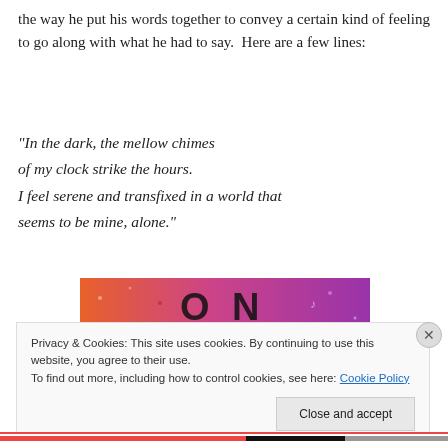the way he put his words together to convey a certain kind of feeling to go along with what he had to say.  Here are a few lines:
“In the dark, the mellow chimes
of my clock strike the hours.
I feel serene and transfixed in a world that
seems to be mine, alone.”
[Figure (screenshot): Tumblr logo banner with colorful orange-to-purple gradient background with decorative doodles and the word 'tumblr' in white bold text.]
Privacy & Cookies: This site uses cookies. By continuing to use this website, you agree to their use.
To find out more, including how to control cookies, see here: Cookie Policy
Close and accept